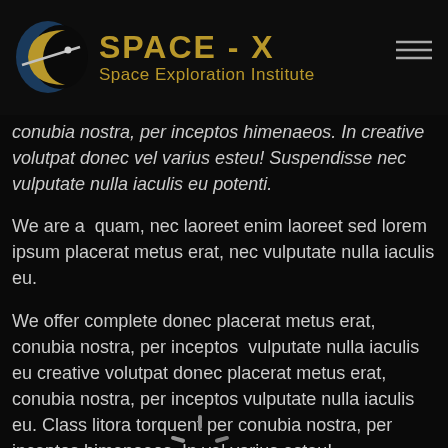SPACE - X Space Exploration Institute
conubia nostra, per inceptos himenaeos. In creative volutpat donec vel varius esteu! Suspendisse nec vulputate nulla iaculis eu potenti.
We are a  quam, nec laoreet enim laoreet sed lorem ipsum placerat metus erat, nec vulputate nulla iaculis eu.
[Figure (other): Loading spinner graphic — circular spinner with radiating dashes in gray/white]
We offer complete donec placerat metus erat, conubia nostra, per inceptos  vulputate nulla iaculis eu creative volutpat donec placerat metus erat, conubia nostra, per inceptos vulputate nulla iaculis eu. Class litora torquent per conubia nostra, per inceptos himenaeos. In vel varius esteu!
Class aptent taciti sociosqu ad litora torquent per